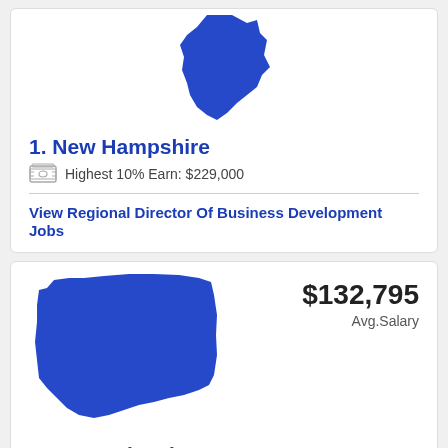[Figure (map): Blue silhouette map of New Hampshire state]
1. New Hampshire
Highest 10% Earn: $229,000
View Regional Director Of Business Development Jobs
[Figure (map): Blue silhouette map of Pennsylvania state]
$132,795 Avg.Salary
2. Pennsylvania
Highest 10% Earn: $223,000